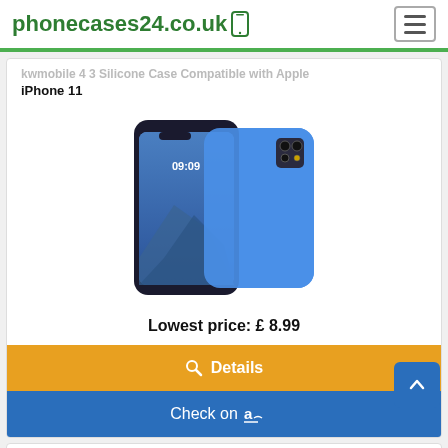phonecases24.co.uk
KWMOBILE 4 3 Silicone Case Compatible with Apple iPhone 11
[Figure (photo): Blue silicone phone case shown from front and back for iPhone 11]
Lowest price: £ 8.99
Details
Check on Amazon
Amazon Brand - Eono Case for iPhone 11, Anti-Scratch Hard